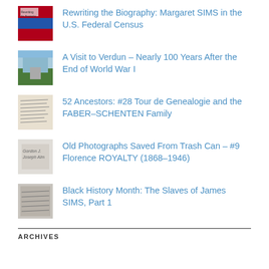Rewriting the Biography: Margaret SIMS in the U.S. Federal Census
A Visit to Verdun – Nearly 100 Years After the End of World War I
52 Ancestors: #28 Tour de Genealogie and the FABER–SCHENTEN Family
Old Photographs Saved From Trash Can – #9 Florence ROYALTY (1868–1946)
Black History Month: The Slaves of James SIMS, Part 1
ARCHIVES